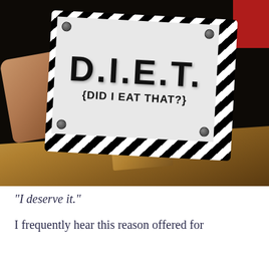[Figure (photo): A hand holds a decorative sign with black-and-white diagonal stripe border and four corner bolts. The sign reads 'D.I.E.T.' in large bold letters with '{DID I EAT THAT?}' below. Background is dark with a wood table surface visible at the bottom.]
“I deserve it.”
I frequently hear this reason offered for